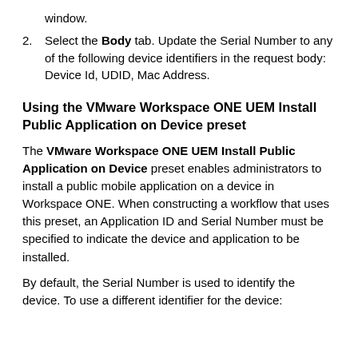window.
Select the Body tab. Update the Serial Number to any of the following device identifiers in the request body: Device Id, UDID, Mac Address.
Using the VMware Workspace ONE UEM Install Public Application on Device preset
The VMware Workspace ONE UEM Install Public Application on Device preset enables administrators to install a public mobile application on a device in Workspace ONE. When constructing a workflow that uses this preset, an Application ID and Serial Number must be specified to indicate the device and application to be installed.
By default, the Serial Number is used to identify the device. To use a different identifier for the device: